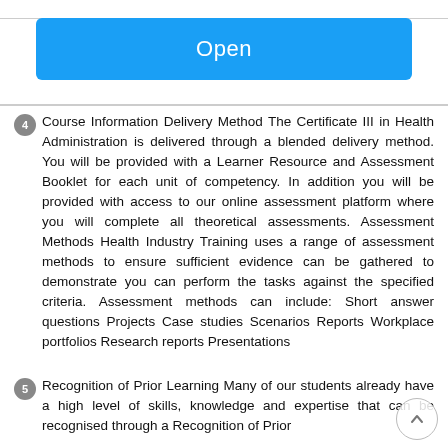[Figure (other): Blue 'Open' button with rounded corners]
4 Course Information Delivery Method The Certificate III in Health Administration is delivered through a blended delivery method. You will be provided with a Learner Resource and Assessment Booklet for each unit of competency. In addition you will be provided with access to our online assessment platform where you will complete all theoretical assessments. Assessment Methods Health Industry Training uses a range of assessment methods to ensure sufficient evidence can be gathered to demonstrate you can perform the tasks against the specified criteria. Assessment methods can include: Short answer questions Projects Case studies Scenarios Reports Workplace portfolios Research reports Presentations
5 Recognition of Prior Learning Many of our students already have a high level of skills, knowledge and expertise that can be recognised through a Recognition of Prior